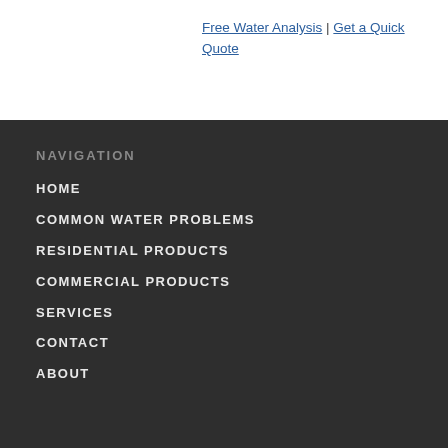Free Water Analysis | Get a Quick Quote
NAVIGATION
HOME
COMMON WATER PROBLEMS
RESIDENTIAL PRODUCTS
COMMERCIAL PRODUCTS
SERVICES
CONTACT
ABOUT